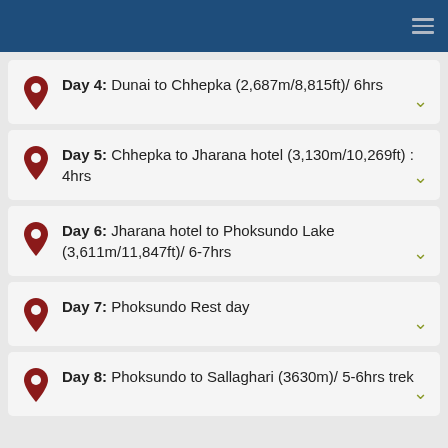Day 4: Dunai to Chhepka (2,687m/8,815ft)/ 6hrs
Day 5: Chhepka to Jharana hotel (3,130m/10,269ft) : 4hrs
Day 6: Jharana hotel to Phoksundo Lake (3,611m/11,847ft)/ 6-7hrs
Day 7: Phoksundo Rest day
Day 8: Phoksundo to Sallaghari (3630m)/ 5-6hrs trek